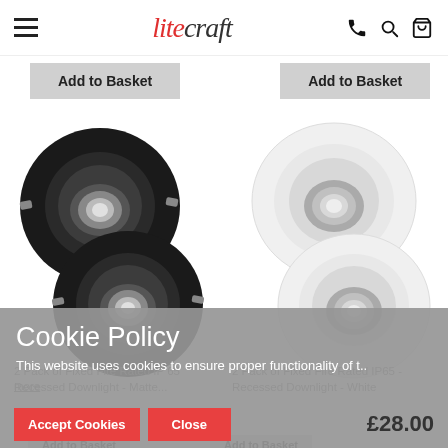litecraft — navigation header with hamburger menu, phone, search, and cart icons
Add to Basket
Add to Basket
[Figure (photo): Two matte black round fixed fire-rated IP65 recessed downlights with chrome lamp visible]
[Figure (photo): Two white round fixed fire-rated IP65 recessed downlights with chrome lamp visible]
Cookie Policy
This website uses cookies to ensure proper functionality of t..
2 Pack of Fixed Fire Rated IP 65 Recessed Downlight - Matte...
2 Pack of Fixed Fire Rated IP65 - Recessed Downlight - White
£28.00
Accept Cookies
Close
Add to Basket
Add to Basket